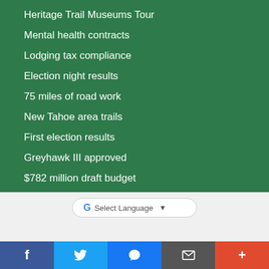Heritage Trail Museums Tour
Mental health contracts
Lodging tax compliance
Election night results
75 miles of road work
New Tahoe area trails
First election results
Greyhawk III approved
$782 million draft budget
[Figure (screenshot): Questions? chat widget with Ask button and close (x) button]
Select Language
[Figure (infographic): Social sharing bar with Facebook, Twitter, Messenger, Email, and More (+) buttons]